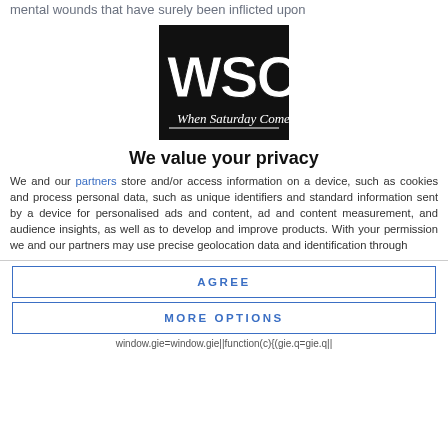mental wounds that have surely been inflicted upon
[Figure (logo): WSC - When Saturday Comes logo: black background with white block letters WSC and italic text 'When Saturday Comes' below]
We value your privacy
We and our partners store and/or access information on a device, such as cookies and process personal data, such as unique identifiers and standard information sent by a device for personalised ads and content, ad and content measurement, and audience insights, as well as to develop and improve products. With your permission we and our partners may use precise geolocation data and identification through
AGREE
MORE OPTIONS
window.gie=window.gie||function(c){(gie.q=gie.q||